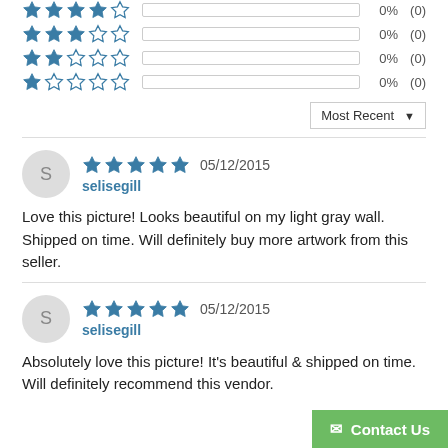[Figure (infographic): Star rating rows showing 4-star, 3-star, 2-star, and 1-star options all at 0% (0) with empty progress bars]
4 stars 0% (0)
3 stars 0% (0)
2 stars 0% (0)
1 star 0% (0)
Most Recent ▼
S selisegill 05/12/2015 ★★★★★ Love this picture! Looks beautiful on my light gray wall. Shipped on time. Will definitely buy more artwork from this seller.
S selisegill 05/12/2015 ★★★★★ Absolutely love this picture! It's beautiful & shipped on time. Will definitely recommend this vendor.